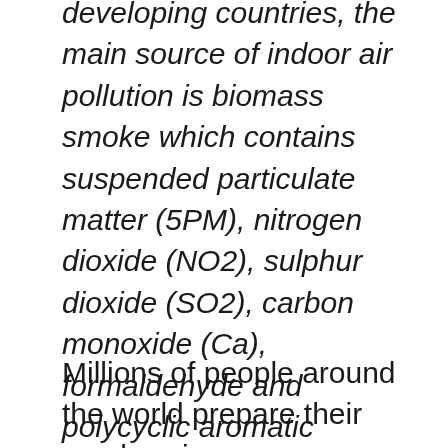developing countries, the main source of indoor air pollution is biomass smoke which contains suspended particulate matter (5PM), nitrogen dioxide (NO2), sulphur dioxide (SO2), carbon monoxide (Ca), formaldehyde and polycyclic aromatic hydrocarbons (PAHs)."
Millions of people around the world prepare their meals using